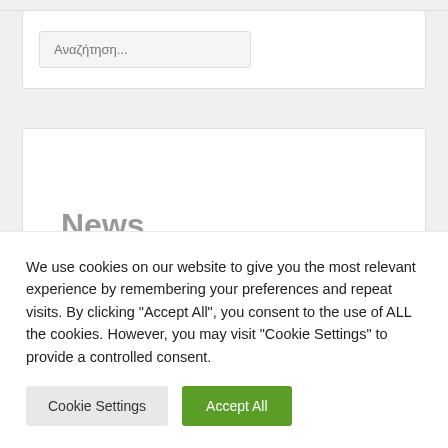Αναζήτηση...
News
We use cookies on our website to give you the most relevant experience by remembering your preferences and repeat visits. By clicking "Accept All", you consent to the use of ALL the cookies. However, you may visit "Cookie Settings" to provide a controlled consent.
Cookie Settings
Accept All